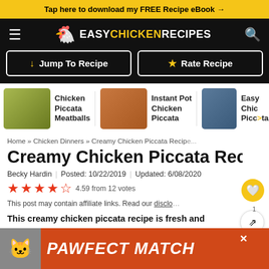Tap here to download my FREE Recipe eBook →
[Figure (logo): Easy Chicken Recipes website navbar with hamburger menu, chicken logo, site name, and search icon]
[Figure (infographic): Two navigation buttons: Jump To Recipe (with down arrow) and Rate Recipe (with star icon)]
[Figure (infographic): Horizontal scrollable related recipes row: Chicken Piccata Meatballs, Instant Pot Chicken Piccata, Easy Chicken Piccata with thumbnail images]
Home » Chicken Dinners » Creamy Chicken Piccata Recipe
Creamy Chicken Piccata Recipe
Becky Hardin | Posted: 10/22/2019 | Updated: 6/08/2020
4.59 from 12 votes
This post may contain affiliate links. Read our disclo...
This creamy chicken piccata recipe is fresh and full ... serve with
[Figure (infographic): PAWFECT MATCH advertisement banner with cat image]